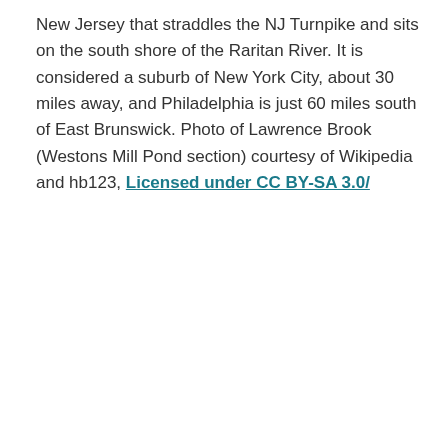New Jersey that straddles the NJ Turnpike and sits on the south shore of the Raritan River. It is considered a suburb of New York City, about 30 miles away, and Philadelphia is just 60 miles south of East Brunswick. Photo of Lawrence Brook (Westons Mill Pond section) courtesy of Wikipedia and hb123, Licensed under CC BY-SA 3.0/